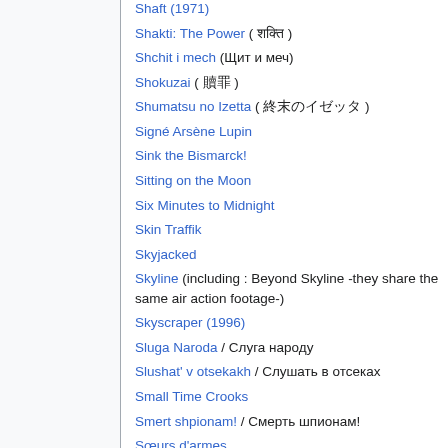Shaft (1971)
Shakti: The Power ( शक्ति )
Shchit i mech (Щит и меч)
Shokuzai ( 贖罪 )
Shumatsu no Izetta ( 終末のイゼッタ )
Signé Arsène Lupin
Sink the Bismarck!
Sitting on the Moon
Six Minutes to Midnight
Skin Traffik
Skyjacked
Skyline (including : Beyond Skyline -they share the same air action footage-)
Skyscraper (1996)
Sluga Naroda / Слуга народу
Slushat' v otsekakh / Слушать в отсеках
Small Time Crooks
Smert shpionam! / Смерть шпионам!
Sœurs d'armes
Sorcerer